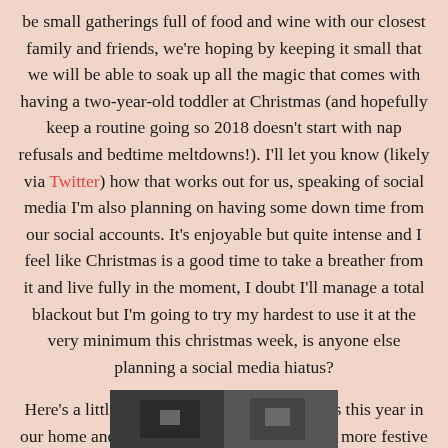be small gatherings full of food and wine with our closest family and friends, we're hoping by keeping it small that we will be able to soak up all the magic that comes with having a two-year-old toddler at Christmas (and hopefully keep a routine going so 2018 doesn't start with nap refusals and bedtime meltdowns!). I'll let you know (likely via Twitter) how that works out for us, speaking of social media I'm also planning on having some down time from our social accounts. It's enjoyable but quite intense and I feel like Christmas is a good time to take a breather from it and live fully in the moment, I doubt I'll manage a total blackout but I'm going to try my hardest to use it at the very minimum this christmas week, is anyone else planning a social media hiatus?
Here's a little gallery of how Christmas looks this year in our home and how it will look (with a couple more festive additions no doubt) until January:
[Figure (photo): Partial photo visible at the bottom of the page, appears to be a Christmas-related image, only the top portion is visible]